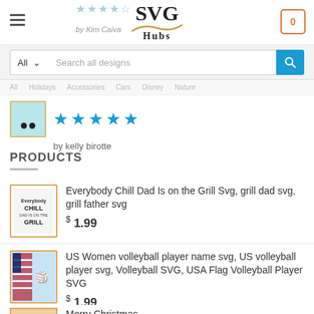[Figure (screenshot): SVG Hubs website header with logo, hamburger menu, cart icon with 0]
by Kim Caiva
[Figure (screenshot): Search bar with All dropdown and Search all designs placeholder and blue search button]
[Figure (screenshot): 5 blue stars rating]
by kelly birotte
PRODUCTS
Everybody Chill Dad Is on the Grill Svg, grill dad svg, grill father svg
$ 1.99
US Women volleyball player name svg, US volleyball player svg, Volleyball SVG, USA Flag Volleyball Player SVG
$ 1.99
Merry Christmas...